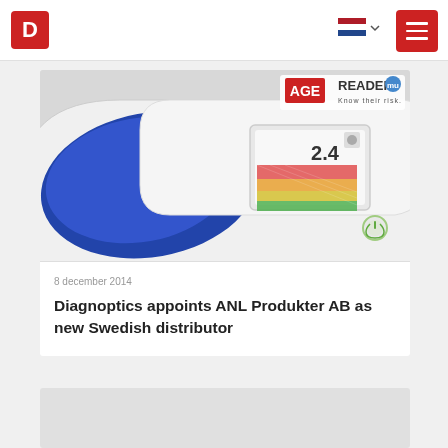Diagnoptics website header with logo, Dutch flag language selector, and hamburger menu
[Figure (photo): AGE Reader medical device - a white and blue handheld diagnostic device with a color display showing 2.4 reading and colored risk bands. Logo visible in upper right: AGE Reader mu - Know their risk.]
8 december 2014
Diagnoptics appoints ANL Produkter AB as new Swedish distributor